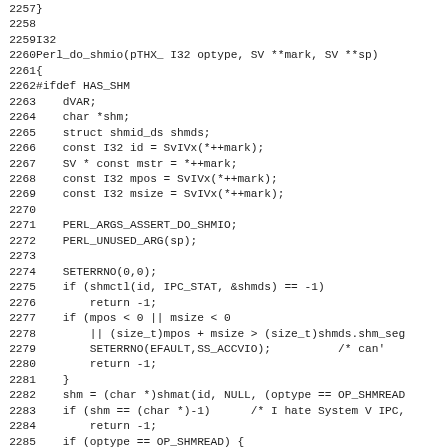[Figure (screenshot): Source code listing in C/Perl, lines 2257–2289, showing the Perl_do_shmio function with shared memory I/O operations.]